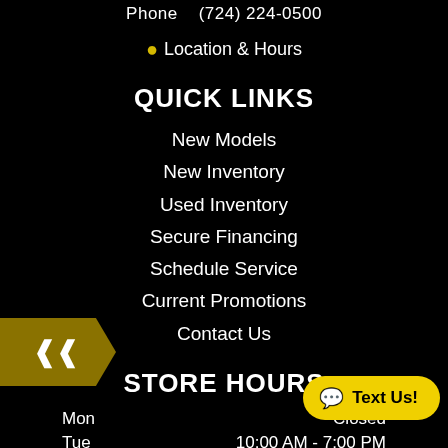Phone    (724) 224-0500
📍 Location & Hours
QUICK LINKS
New Models
New Inventory
Used Inventory
Secure Financing
Schedule Service
Current Promotions
Contact Us
STORE HOURS
| Day | Hours |
| --- | --- |
| Mon | Closed |
| Tue | 10:00 AM - 7:00 PM |
| Wed | 10:00 AM - 7:00 PM |
| Thu | 10:00 AM - 7:00 PM |
| Fri | 10:00 AM - 5:00 PM |
| Sat | 10:00 AM - 4:00 PM |
Text Us!